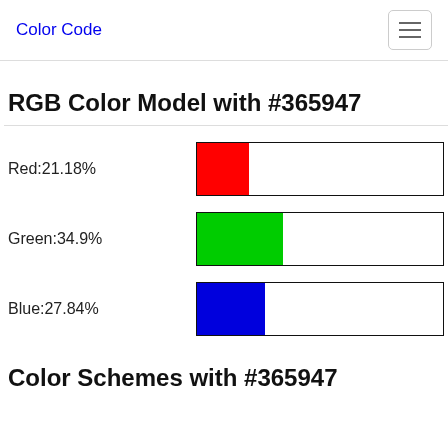Color Code
RGB Color Model with #365947
Red:21.18%
[Figure (bar-chart): Red channel]
Green:34.9%
[Figure (bar-chart): Green channel]
Blue:27.84%
[Figure (bar-chart): Blue channel]
Color Schemes with #365947